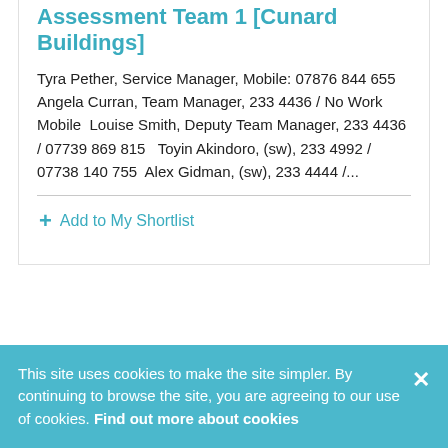Assessment Team 1 [Cunard Buildings]
Tyra Pether, Service Manager, Mobile: 07876 844 655 Angela Curran, Team Manager, 233 4436 / No Work Mobile  Louise Smith, Deputy Team Manager, 233 4436 / 07739 869 815   Toyin Akindoro, (sw), 233 4992 / 07738 140 755  Alex Gidman, (sw), 233 4444 /...
+ Add to My Shortlist
This site uses cookies to make the site simpler. By continuing to browse the site, you are agreeing to our use of cookies. Find out more about cookies